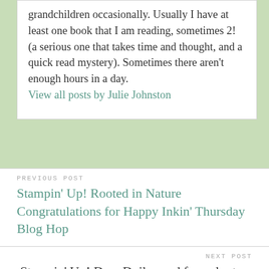grandchildren occasionally. Usually I have at least one book that I am reading, sometimes 2! (a serious one that takes time and thought, and a quick read mystery). Sometimes there aren't enough hours in a day. View all posts by Julie Johnston
PREVIOUS POST
Stampin' Up! Rooted in Nature Congratulations for Happy Inkin' Thursday Blog Hop
NEXT POST
Stampin' Up! Dear Doily used for volunteer work